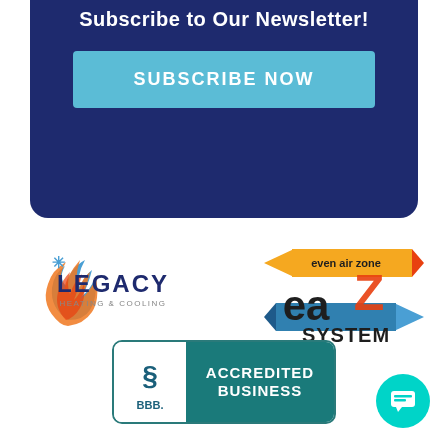Subscribe to Our Newsletter!
SUBSCRIBE NOW
[Figure (logo): Legacy Heating & Cooling logo with flame and snowflake icon]
[Figure (logo): eaZ System even air zone logo with orange and blue arrows]
[Figure (logo): BBB Accredited Business badge]
[Figure (other): Teal chat button icon in bottom right corner]